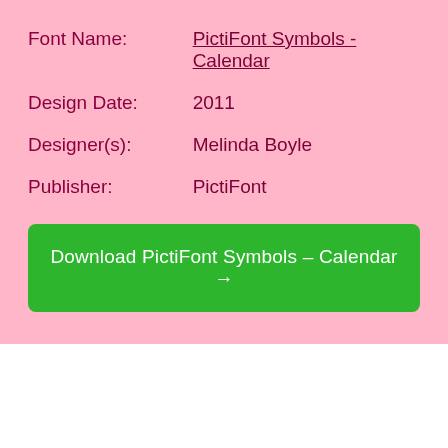| Font Name: | PictiFont Symbols - Calendar |
| Design Date: | 2011 |
| Designer(s): | Melinda Boyle |
| Publisher: | PictiFont |
Download PictiFont Symbols – Calendar →